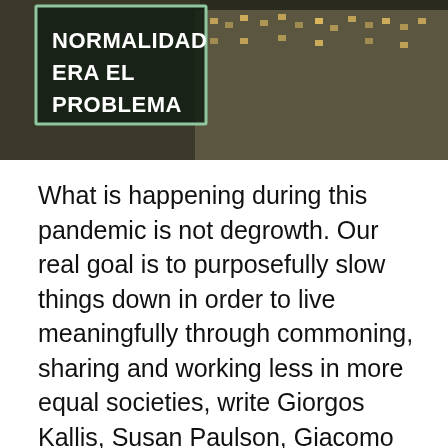[Figure (photo): Photo of urban buildings at night with a large illuminated sign reading 'NORMALIDAD ERA EL PROBLEMA' (Normality was the problem), framed in a light green/teal border on a dark background.]
What is happening during this pandemic is not degrowth. Our real goal is to purposefully slow things down in order to live meaningfully through commoning, sharing and working less in more equal societies, write Giorgos Kallis, Susan Paulson, Giacomo D'Alisa and Federico Demaria for openDemocracy.
The pandemic has lain bare the fragility of existing economic systems. Wealthy nations have more than enough resources to cover public health and basic needs during a crisis, and could weather declines in non-essential parts of the economy by reallocating work and resources to essential ones. Yet the